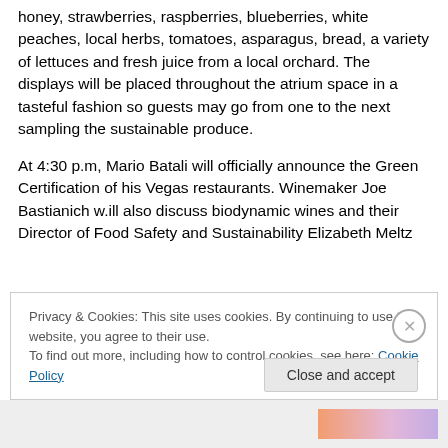honey, strawberries, raspberries, blueberries, white peaches, local herbs, tomatoes, asparagus, bread, a variety of lettuces and fresh juice from a local orchard. The displays will be placed throughout the atrium space in a tasteful fashion so guests may go from one to the next sampling the sustainable produce.
At 4:30 p.m, Mario Batali will officially announce the Green Certification of his Vegas restaurants. Winemaker Joe Bastianich w.ill also discuss biodynamic wines and their Director of Food Safety and Sustainability Elizabeth Meltz
Privacy & Cookies: This site uses cookies. By continuing to use this website, you agree to their use.
To find out more, including how to control cookies, see here: Cookie Policy
Close and accept